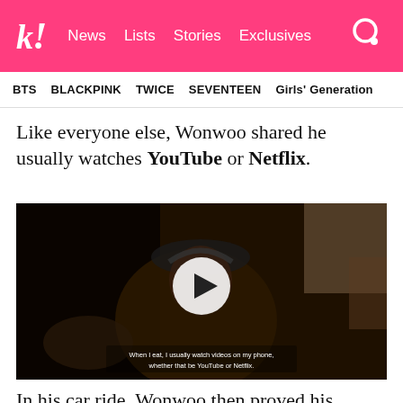k! News  Lists  Stories  Exclusives
BTS  BLACKPINK  TWICE  SEVENTEEN  Girls' Generation
Like everyone else, Wonwoo shared he usually watches YouTube or Netflix.
[Figure (screenshot): Video thumbnail showing a person wearing a cap and headphones, with subtitle text: 'When I eat, I usually watch videos on my phone, whether that be YouTube or Netflix.' A white circular play button overlay is in the center.]
In his car ride, Wonwoo then proved his insane duality by singing with the most lovely voice